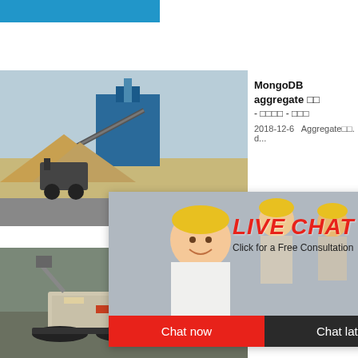[Figure (screenshot): Blue bar at top of webpage]
[Figure (photo): Mining/quarry machinery and equipment at a construction site]
MongoDB■aggregate■■ - ■■■■ - ■■■
2018-12-6   Aggregate■■. d...
[Figure (screenshot): Live Chat popup with workers in hard hats, LIVE CHAT heading in red italic, Click for a Free Consultation text, Chat now and Chat later buttons]
[Figure (photo): Industrial crusher/quarry machine - second result image]
■■■■■gro aggregate ■-CSDN
2016-11-...
[Figure (screenshot): Blue sidebar with hour online text, crusher machine image, Click me to chat>> button, Enquiry section, limingjlmofen text]